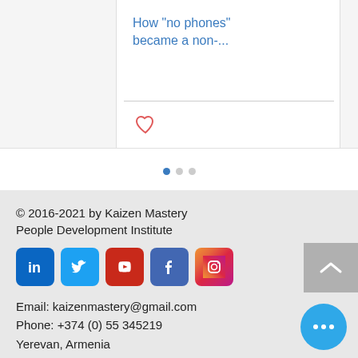How "no phones" became a non-...
[Figure (infographic): Pagination dots: one filled blue circle followed by two grey circles]
© 2016-2021 by Kaizen Mastery People Development Institute
Email: kaizenmastery@gmail.com
Phone: +374 (0) 55 345219
Yerevan, Armenia
[Figure (infographic): Social media icons row: LinkedIn, Twitter, YouTube, Facebook, Instagram]